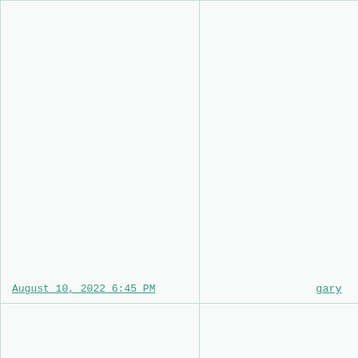| Date | Name/Team | Info |
| --- | --- | --- |
| August 10, 2022 6:45 PM | gary | COL B |
| August 5, 2022 6:33 PM | Cherry Bombers 🍒 |  |
| August 4, 2022 9:30 PM | Obviously Dewon Brazelton | LAD |